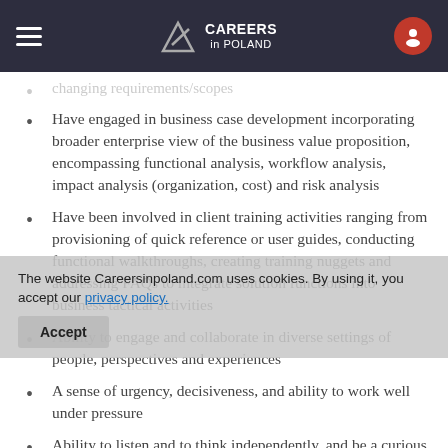CAREERS in POLAND
changing requirements/scopes
Have engaged in business case development incorporating broader enterprise view of the business value proposition, encompassing functional analysis, workflow analysis, impact analysis (organization, cost) and risk analysis
Have been involved in client training activities ranging from provisioning of quick reference or user guides, conducting functional walkthroughs, creating training nuggets and addressing FAQs to integrate solution functions into business tactical activities
Ability to engage and collaborate in diverse settings of people, perspectives and experiences
A sense of urgency, decisiveness, and ability to work well under pressure
Ability to listen and to think independently, and be a curious and creative person
The website Careersinpoland.com uses cookies. By using it, you accept our privacy policy.
To qualify for the role, you must have
Bachelor's degree in Business Administration